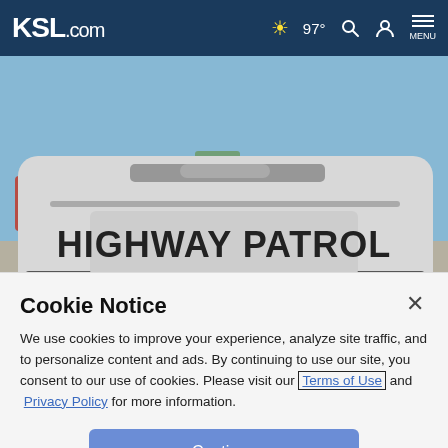KSL.com  97°  MENU
[Figure (photo): Rear of a white Highway Patrol vehicle with 'HIGHWAY PATROL' text on the bumper, outdoor parking lot background]
Taylorsville man dies in single-vehicle crash
Cookie Notice
We use cookies to improve your experience, analyze site traffic, and to personalize content and ads. By continuing to use our site, you consent to our use of cookies. Please visit our Terms of Use and Privacy Policy for more information.
Continue